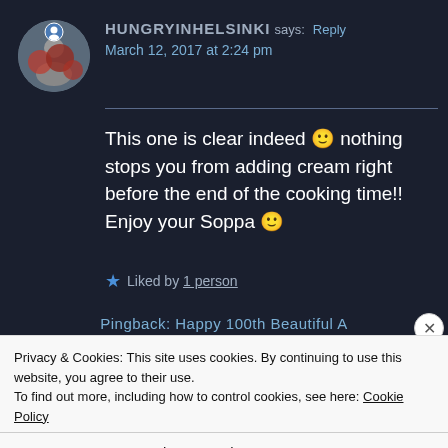HUNGRYINHELSINKI says: Reply
March 12, 2017 at 2:24 pm
This one is clear indeed 🙂 nothing stops you from adding cream right before the end of the cooking time!! Enjoy your Soppa 🙂
★ Liked by 1 person
Pingback: Happy 100th Beautiful A
Privacy & Cookies: This site uses cookies. By continuing to use this website, you agree to their use.
To find out more, including how to control cookies, see here: Cookie Policy
Close and accept